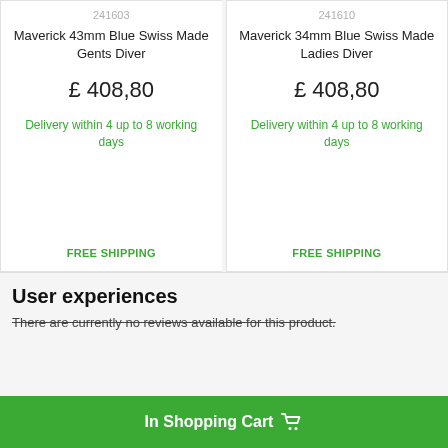241603
Maverick 43mm Blue Swiss Made Gents Diver
£ 408,80
Delivery within 4 up to 8 working days
FREE SHIPPING
241610
Maverick 34mm Blue Swiss Made Ladies Diver
£ 408,80
Delivery within 4 up to 8 working days
FREE SHIPPING
User experiences
There are currently no reviews available for this product.
In Shopping Cart